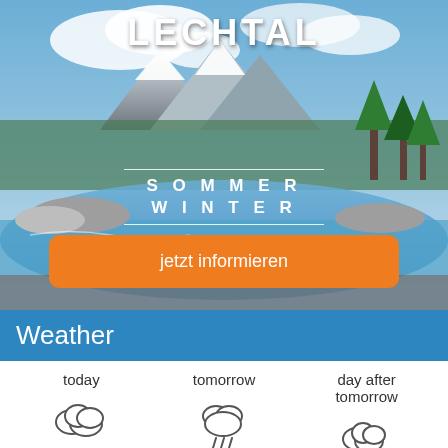[Figure (photo): Mountain landscape with a rushing glacial river, alpine peaks with snow in background, trees on right, blue sky with clouds. Overlaid text: LECHTAL, SOMMER, WINTER, and an orange button 'jetzt informieren'.]
Weather
today
tomorrow
day after tomorrow
[Figure (illustration): Cloudy weather icon (two overlapping clouds) for 'today']
[Figure (illustration): Rain cloud weather icon (cloud with rain drops) for 'tomorrow']
[Figure (illustration): Partly cloudy weather icon for 'day after tomorrow']